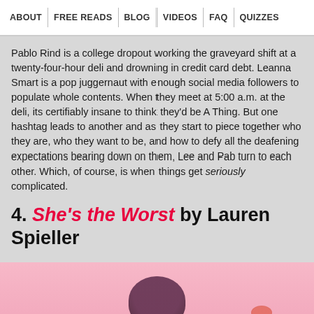ABOUT | FREE READS | BLOG | VIDEOS | FAQ | QUIZZES
Pablo Rind is a college dropout working the graveyard shift at a twenty-four-hour deli and drowning in credit card debt. Leanna Smart is a pop juggernaut with enough social media followers to populate whole contents. When they meet at 5:00 a.m. at the deli, its certifiably insane to think they'd be A Thing. But one hashtag leads to another and as they start to piece together who they are, who they want to be, and how to defy all the deafening expectations bearing down on them, Lee and Pab turn to each other. Which, of course, is when things get seriously complicated.
4. She's the Worst by Lauren Spieller
[Figure (photo): Pink background with partial view of a figure, book cover or illustration]